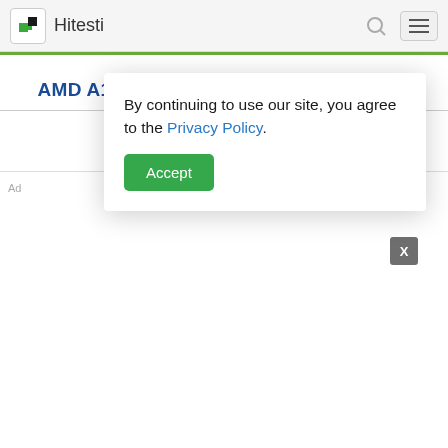Hitesti
AMD A10-5745M VS Intel Core i3-7100U
By continuing to use our site, you agree to the Privacy Policy.
Accept